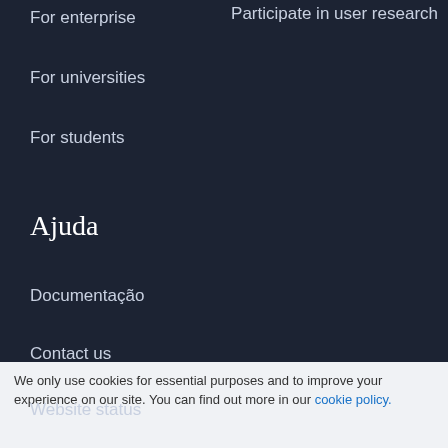Participate in user research
For enterprise
For universities
For students
Ajuda
Documentação
Contact us
Website status
We only use cookies for essential purposes and to improve your experience on our site. You can find out more in our cookie policy.
Essential cookies only
Accept all cookies
Loading [MathJax]/extensions/Safe.js